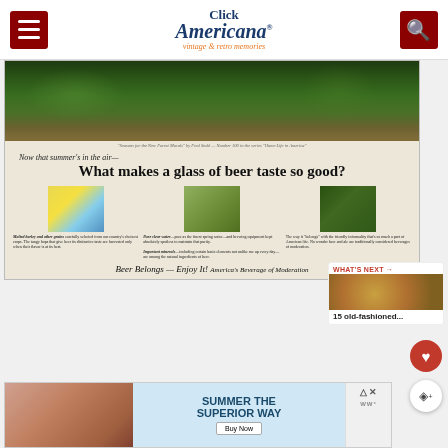Click Americana — vintage & retro memories
[Figure (photo): Vintage beer advertisement with top landscape illustration and three columns describing beer ingredients: malted barley, pure clear water, and important minerals, ending with 'Beer Belongs — Enjoy It! America's Beverage of Moderation']
Now that summer's in the air—
What makes a glass of beer taste so good?
Malted barley and other grains carefully selected from our country's choicest crops. The tangy hops that give beer its distinctive taste are harvested only when their flavor is at its best.
Pure clear water—pure as the finest spring water—and brewing equipment kept absolutely spotless to maintain that purity. Important minerals—including certain basic elements not unlike me up every day—are among the natural ingredients of beer.
The way it 'belongs' with the friendly informality that's so much a part of American life. No wonder beer and ale are traditionally considered beverages of moderation.
Beer Belongs — Enjoy It! America's Beverage of Moderation
[Figure (photo): Thumbnail image showing gold/brown eggs or similar round objects — What's Next sidebar preview]
WHAT'S NEXT → 15 old-fashioned...
[Figure (photo): Bottom advertisement banner: Summer the Superior Way — Buy Now button, with beer/beverage imagery on the left]